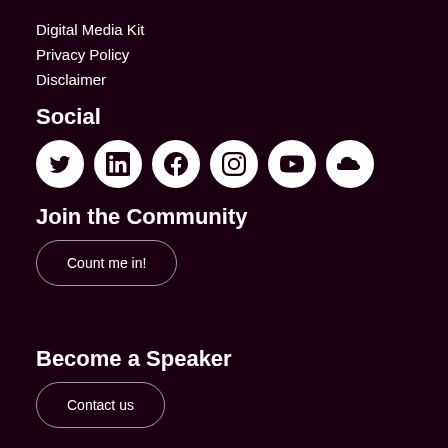Digital Media Kit
Privacy Policy
Disclaimer
Social
[Figure (illustration): Row of 6 social media icons in white circles: Twitter, LinkedIn, Facebook, Instagram, YouTube, SoundCloud]
Join the Community
Count me in!
Become a Speaker
Contact us
Reach our Audience
Enquire now